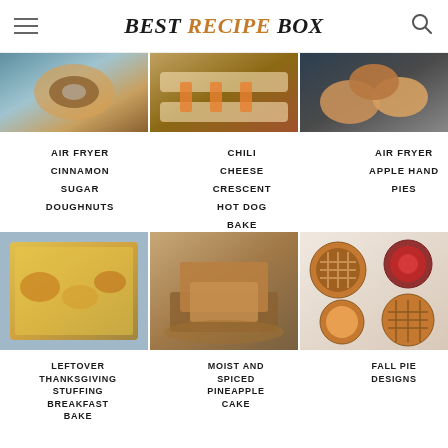BEST RECIPE BOX
[Figure (photo): Air Fryer Cinnamon Sugar Doughnuts food photo, partially cropped at top]
[Figure (photo): Chili Cheese Crescent Hot Dog Bake food photo, partially cropped at top]
[Figure (photo): Air Fryer Apple Hand Pies food photo, partially cropped at top]
AIR FRYER CINNAMON SUGAR DOUGHNUTS
CHILI CHEESE CRESCENT HOT DOG BAKE
AIR FRYER APPLE HAND PIES
[Figure (photo): Leftover Thanksgiving Stuffing Breakfast Bake in pan, golden cheesy top]
[Figure (photo): Moist and Spiced Pineapple Cake slices on plate]
[Figure (photo): Fall Pie Designs - multiple mini pies with various crust designs]
LEFTOVER THANKSGIVING STUFFING BREAKFAST BAKE
MOIST AND SPICED PINEAPPLE CAKE
FALL PIE DESIGNS